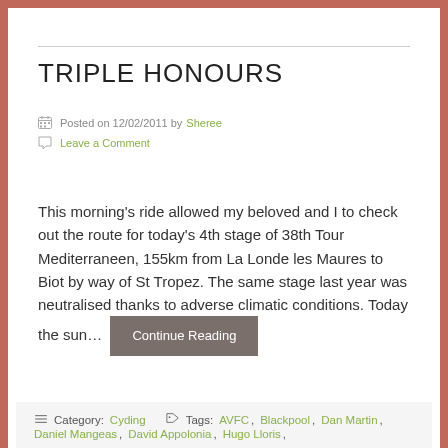TRIPLE HONOURS
Posted on 12/02/2011 by Sheree
Leave a Comment
This morning's ride allowed my beloved and I to check out the route for today's 4th stage of 38th Tour Mediterraneen, 155km from La Londe les Maures to Biot by way of St Tropez. The same stage last year was neutralised thanks to adverse climatic conditions. Today the sun…
Continue Reading
Category: Cyding   Tags: AVFC, Blackpool, Dan Martin, Daniel Mangeas, David Appolonia, Hugo Lloris,